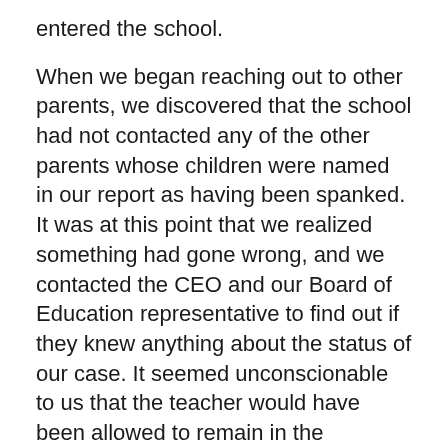entered the school.
When we began reaching out to other parents, we discovered that the school had not contacted any of the other parents whose children were named in our report as having been spanked. It was at this point that we realized something had gone wrong, and we contacted the CEO and our Board of Education representative to find out if they knew anything about the status of our case. It seemed unconscionable to us that the teacher would have been allowed to remain in the classroom, unsupervised, threatening and hitting students. Our case was then forwarded to PGCPS Security Services, and it was at that point that we learned that the principal had done nothing with our report of abuse. (Note that educators have a legal duty in Maryland to report suspected abuse.) Security Services